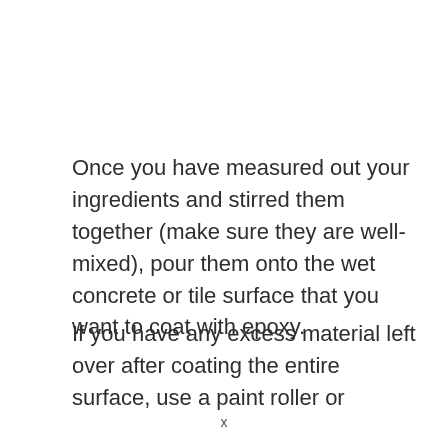Once you have measured out your ingredients and stirred them together (make sure they are well-mixed), pour them onto the wet concrete or tile surface that you want to coat with epoxy.
If you have any excess material left over after coating the entire surface, use a paint roller or
x